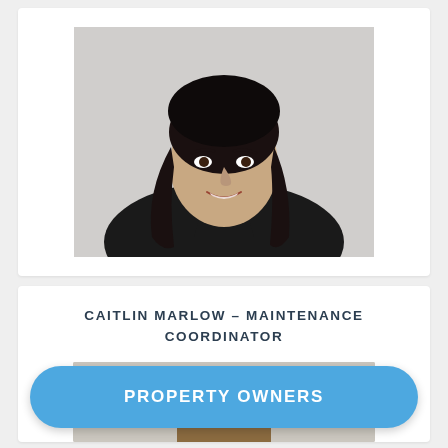[Figure (photo): Professional headshot of a woman with long dark hair wearing a black top, smiling against a light gray background.]
CAITLIN MARLOW – MAINTENANCE COORDINATOR
[Figure (photo): Partial photo of a person, mostly cropped out, visible at bottom of card.]
PROPERTY OWNERS